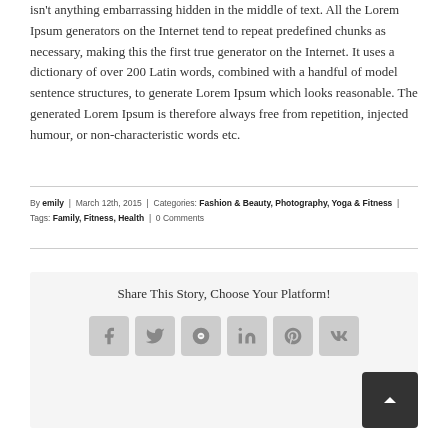isn't anything embarrassing hidden in the middle of text. All the Lorem Ipsum generators on the Internet tend to repeat predefined chunks as necessary, making this the first true generator on the Internet. It uses a dictionary of over 200 Latin words, combined with a handful of model sentence structures, to generate Lorem Ipsum which looks reasonable. The generated Lorem Ipsum is therefore always free from repetition, injected humour, or non-characteristic words etc.
By emily | March 12th, 2015 | Categories: Fashion & Beauty, Photography, Yoga & Fitness | Tags: Family, Fitness, Health | 0 Comments
Share This Story, Choose Your Platform!